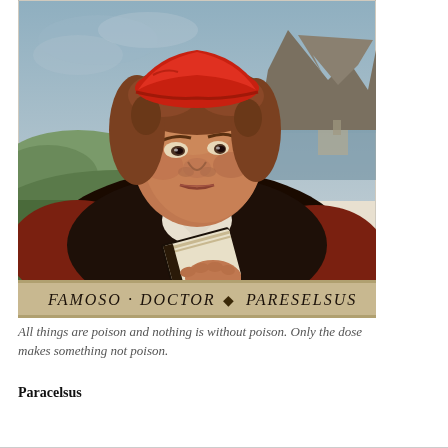[Figure (illustration): Renaissance oil painting portrait of Paracelsus wearing a red cap and dark robes, holding a book, with a landscape background. Text at bottom reads 'FAMOSO DOCTOR PARESELSUS'.]
All things are poison and nothing is without poison. Only the dose makes something not poison.
Paracelsus